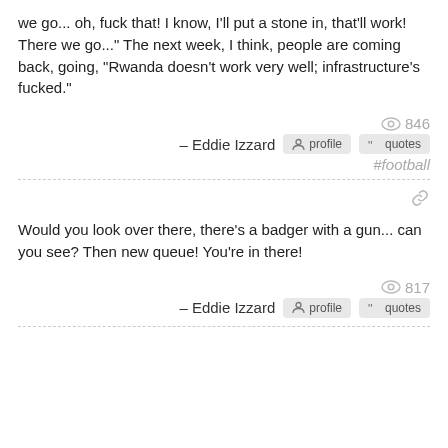we go... oh, fuck that! I know, I'll put a stone in, that'll work! There we go..." The next week, I think, people are coming back, going, "Rwanda doesn't work very well; infrastructure's fucked."
👁 846
– Eddie Izzard  profile  quotes
#football
Would you look over there, there's a badger with a gun... can you see? Then new queue! You're in there!
👁 817
– Eddie Izzard  profile  quotes